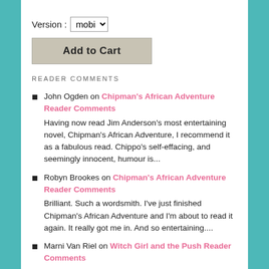Version : mobi
Add to Cart
READER COMMENTS
John Ogden on Chipman's African Adventure Reader Comments
Having now read Jim Anderson's most entertaining novel, Chipman's African Adventure, I recommend it as a fabulous read. Chippo's self-effacing, and seemingly innocent, humour is...
Robyn Brookes on Chipman's African Adventure Reader Comments
Brilliant. Such a wordsmith. I've just finished Chipman's African Adventure and I'm about to read it again. It really got me in. And so entertaining....
Marni Van Riel on Witch Girl and the Push Reader Comments
I agree with you Alicia; it was a great read and so